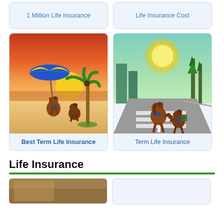1 Million Life Insurance
Life Insurance Cost
[Figure (illustration): Cartoon horses on a beach at sunset with a colorful umbrella and palm tree]
Best Term Life Insurance
[Figure (illustration): Cartoon horses on a road/crosswalk with city and forest background]
Term Life Insurance
Life Insurance
[Figure (photo): Partial photo, cut off at bottom of page]